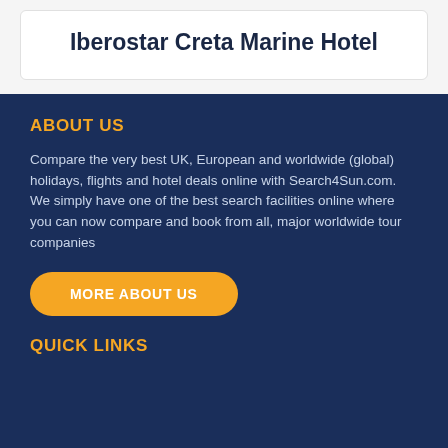Iberostar Creta Marine Hotel
ABOUT US
Compare the very best UK, European and worldwide (global) holidays, flights and hotel deals online with Search4Sun.com. We simply have one of the best search facilities online where you can now compare and book from all, major worldwide tour companies
MORE ABOUT US
QUICK LINKS